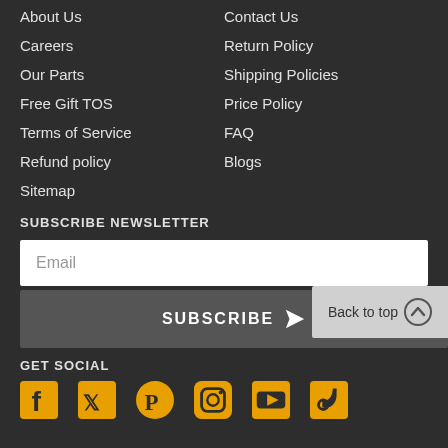About Us
Contact Us
Careers
Return Policy
Our Parts
Shipping Policies
Free Gift TOS
Price Policy
Terms of Service
FAQ
Refund policy
Blogs
Sitemap
SUBSCRIBE NEWSLETTER
Email
SUBSCRIBE
Back to top
GET SOCIAL
[Figure (illustration): Social media icons: Facebook, Twitter, Pinterest, Instagram, YouTube, TikTok in yellow/gold color]